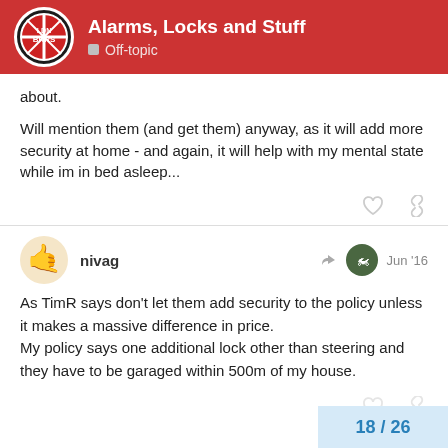Alarms, Locks and Stuff — Off-topic
about.
Will mention them (and get them) anyway, as it will add more security at home - and again, it will help with my mental state while im in bed asleep...
nivag   Jun '16
As TimR says don't let them add security to the policy unless it makes a massive difference in price.
My policy says one additional lock other than steering and they have to be garaged within 500m of my house.
18 / 26